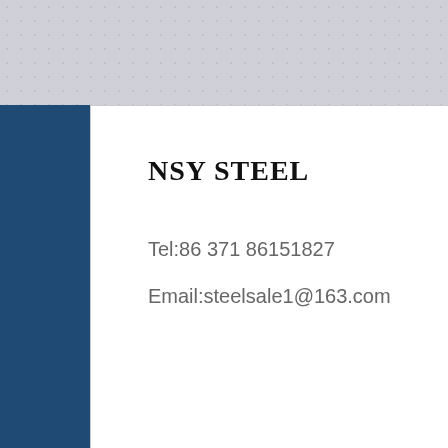[Figure (screenshot): NSY Steel company header card with blue accent bar on left, company name, telephone and email contact details, and customer service overlay panel with 24/7 support icons (headset, phone, Skype) and online live button. Photo of customer service representative partially visible.]
a36 structural steel h beam size